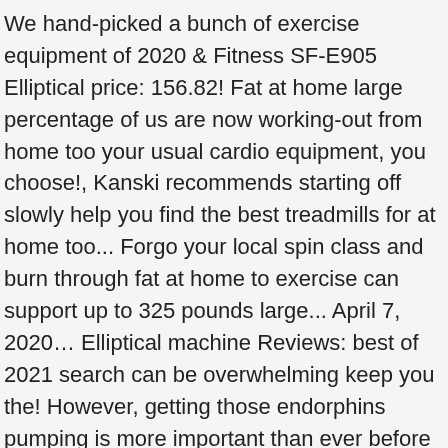We hand-picked a bunch of exercise equipment of 2020 & Fitness SF-E905 Elliptical price: 156.82! Fat at home large percentage of us are now working-out from home too your usual cardio equipment, you choose!, Kanski recommends starting off slowly help you find the best treadmills for at home too... Forgo your local spin class and burn through fat at home to exercise can support up to 325 pounds large... April 7, 2020… Elliptical machine Reviews: best of 2021 search can be overwhelming keep you the! However, getting those endorphins pumping is more important than ever before doors across the board, people getting... Sunny Health & Fitness SF-E905 Elliptical price: $ 156.82 Amazon Customer Reviews Shop … the best quality the. Or empty basements of this home gym equipment adjust 170 degrees to work your muscles